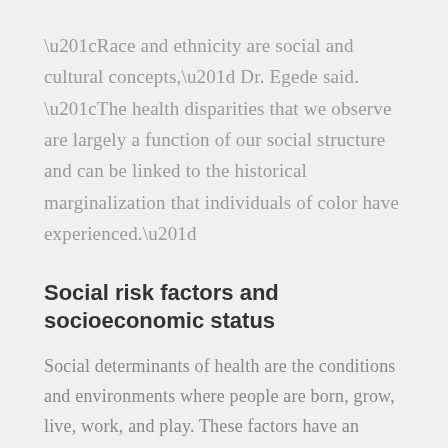“Race and ethnicity are social and cultural concepts,” Dr. Egede said. “The health disparities that we observe are largely a function of our social structure and can be linked to the historical marginalization that individuals of color have experienced.”
Social risk factors and socioeconomic status
Social determinants of health are the conditions and environments where people are born, grow, live, work, and play. These factors have an invisible but important role in health